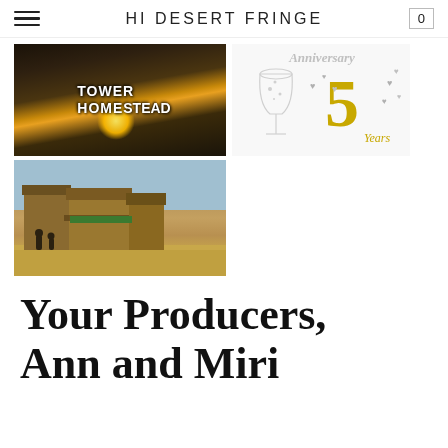HI DESERT FRINGE
[Figure (photo): Photo of Tower Homestead sign with sunset glow behind metal fence]
[Figure (photo): Anniversary card showing champagne glass with '5 Years' in gold text and silver hearts, script 'Anniversary' at top]
[Figure (photo): Photo of rustic wooden storefronts in desert setting with people visible]
Your Producers, Ann and Miri